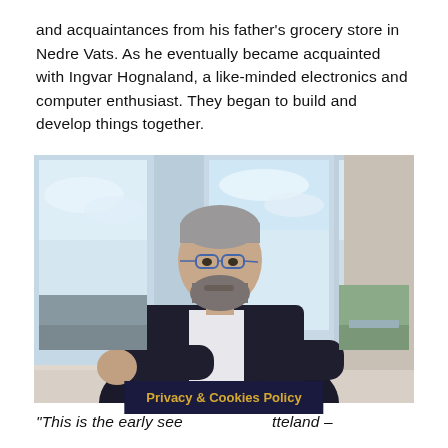and acquaintances from his father's grocery store in Nedre Vats. As he eventually became acquainted with Ingvar Hognaland, a like-minded electronics and computer enthusiast. They began to build and develop things together.
[Figure (photo): A man in a dark blazer and white shirt seated at a white table, looking to his left. He has short grey hair and glasses with a beard. Large windows behind him show a cloudy sky and urban landscape.]
"This is the early see...tteland –